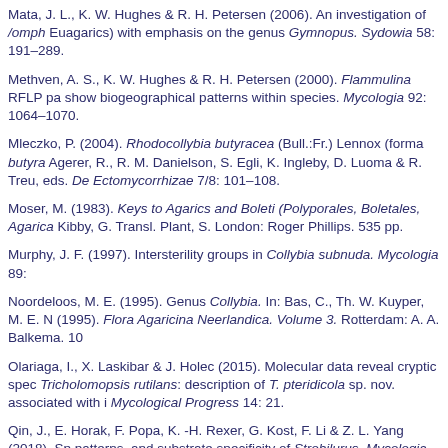Mata, J. L., K. W. Hughes & R. H. Petersen (2006). An investigation of /omph (Euagarics) with emphasis on the genus Gymnopus. Sydowia 58: 191–289.
Methven, A. S., K. W. Hughes & R. H. Petersen (2000). Flammulina RFLP pa show biogeographical patterns within species. Mycologia 92: 1064–1070.
Mleczko, P. (2004). Rhodocollybia butyracea (Bull.:Fr.) Lennox (forma butyra Agerer, R., R. M. Danielson, S. Egli, K. Ingleby, D. Luoma & R. Treu, eds. De Ectomycorrhizae 7/8: 101–108.
Moser, M. (1983). Keys to Agarics and Boleti (Polyporales, Boletales, Agarica Kibby, G. Transl. Plant, S. London: Roger Phillips. 535 pp.
Murphy, J. F. (1997). Intersterility groups in Collybia subnuda. Mycologia 89:
Noordeloos, M. E. (1995). Genus Collybia. In: Bas, C., Th. W. Kuyper, M. E. N (1995). Flora Agaricina Neerlandica. Volume 3. Rotterdam: A. A. Balkema. 10
Olariaga, I., X. Laskibar & J. Holec (2015). Molecular data reveal cryptic spec Tricholomopsis rutilans: description of T. pteridicola sp. nov. associated with i Mycological Progress 14: 21.
Qin, J., E. Horak, F. Popa, K. -H. Rexer, G. Kost, F. Li & Z. L. Yang (2018). Sp patterns, and substrate specificity of Strobilurus. Mycologia 110: 584–604.
Redhead, S. A. & R. Singer (1978). On Calocybe names. Mycotaxon 6: 500–
Redhead, S. A. (1979). The genus Strobilurus (Agaricales) in Canada with no Canadian Journal of Botany 58: 68–83.
Redhead, S. A. (1982). The systematics of Callistosporium luteo-olivaceum.